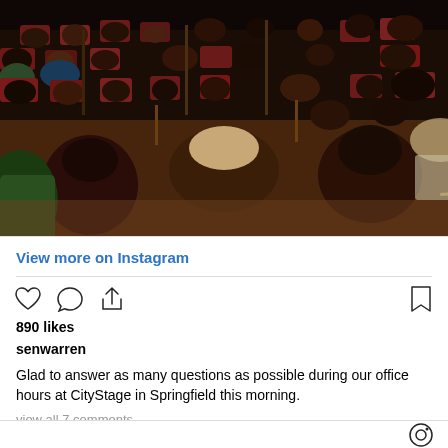[Figure (photo): Audience seated in red theater chairs at CityStage in Springfield, viewed from above and behind, with microphone stands visible in the aisles and people looking toward a stage area.]
View more on Instagram
890 likes
senwarren
Glad to answer as many questions as possible during our office hours at CityStage in Springfield this morning.
view all 7 comments